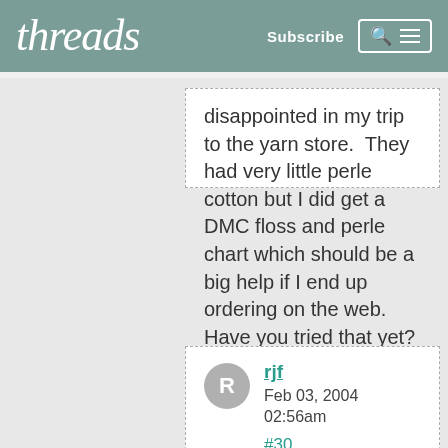threads  Subscribe
disappointed in my trip to the yarn store.  They had very little perle cotton but I did get a DMC floss and perle chart which should be a big help if I end up ordering on the web.  Have you tried that yet?
rjf
Feb 03, 2004 02:56am
#30